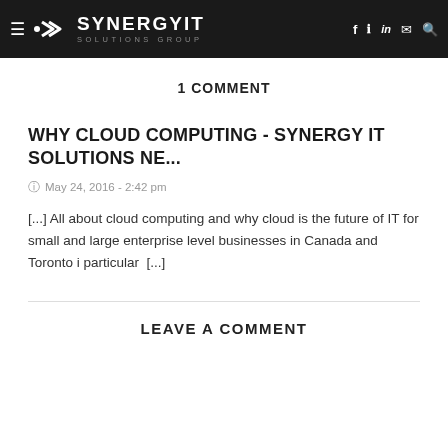SYNERGYIT SOLUTIONS GROUP
1 COMMENT
WHY CLOUD COMPUTING - SYNERGY IT SOLUTIONS NE...
May 24, 2016 - 2:42 pm
[...] All about cloud computing and why cloud is the future of IT for small and large enterprise level businesses in Canada and Toronto i particular  [...]
LEAVE A COMMENT